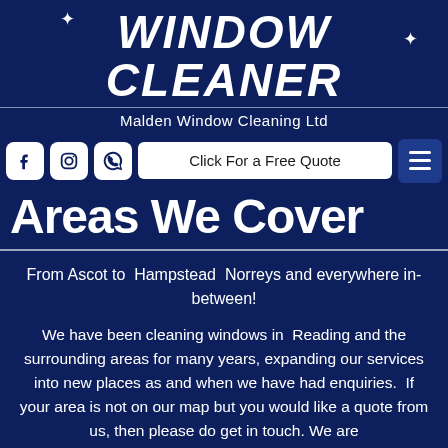WINDOW CLEANER
Malden Window Cleaning Ltd
[Figure (logo): Social media icons: Facebook, Instagram, WhatsApp; a white 'Click For a Free Quote' button; and a hamburger menu icon]
Areas We Cover
From Ascot to Hampstead Norreys and everywhere in-between!
We have been cleaning windows in Reading and the surrounding areas for many years, expanding our services into new places as and when we have had enquiries. If your area is not on our map but you would like a quote from us, then please do get in touch. We are